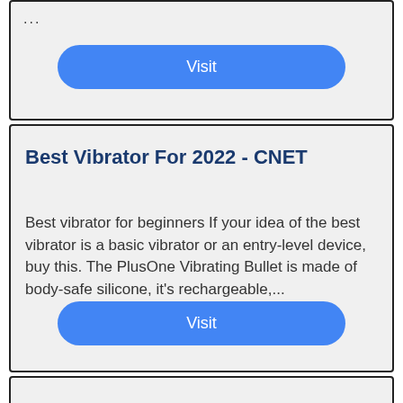...
Visit
Best Vibrator For 2022 - CNET
Best vibrator for beginners If your idea of the best vibrator is a basic vibrator or an entry-level device, buy this. The PlusOne Vibrating Bullet is made of body-safe silicone, it's rechargeable,...
Visit